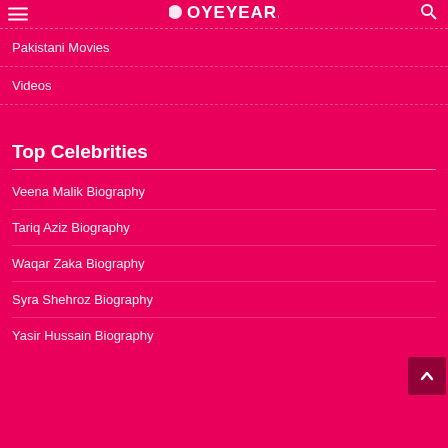OYELEAR.
Pakistani Movies
Videos
Top Celebrities
Veena Malik Biography
Tariq Aziz Biography
Waqar Zaka Biography
Syra Shehroz Biography
Yasir Hussain Biography